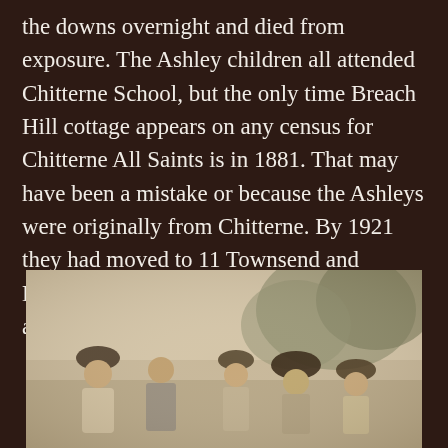the downs overnight and died from exposure. The Ashley children all attended Chitterne School, but the only time Breach Hill cottage appears on any census for Chitterne All Saints is in 1881. That may have been a mistake or because the Ashleys were originally from Chitterne. By 1921 they had moved to 11 Townsend and Herbert Coleman and William Nash lived at Breach Hill.
[Figure (photo): A sepia-toned vintage photograph showing a group of people outdoors. Several figures wearing hats typical of the 1920s era are visible, with trees in the background.]